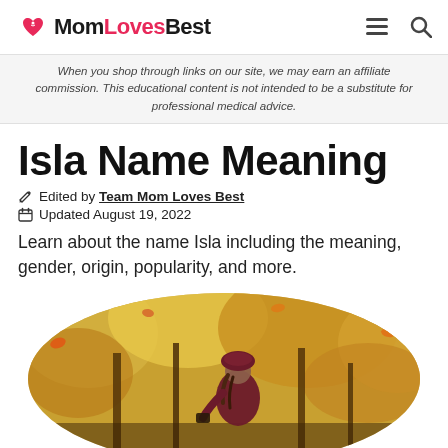MomLovesBest
When you shop through links on our site, we may earn an affiliate commission. This educational content is not intended to be a substitute for professional medical advice.
Isla Name Meaning
Edited by Team Mom Loves Best
Updated August 19, 2022
Learn about the name Isla including the meaning, gender, origin, popularity, and more.
[Figure (photo): A woman wearing a dark burgundy beret and coat in an autumn forest setting with golden fall foliage, shown in an oval-cropped image]